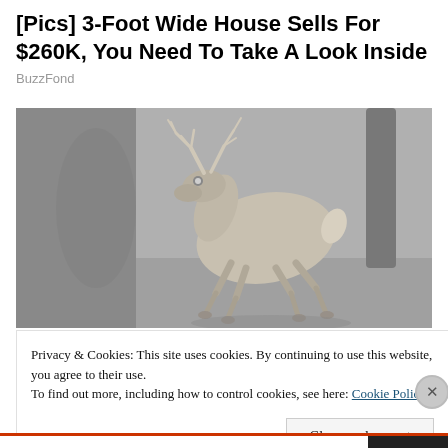[Pics] 3-Foot Wide House Sells For $260K, You Need To Take A Look Inside
BuzzFond
[Figure (photo): Night vision or infrared camera photo of a deer (buck with antlers) running or trotting across a dark ground, captured in grayscale/muted tones]
Privacy & Cookies: This site uses cookies. By continuing to use this website, you agree to their use.
To find out more, including how to control cookies, see here: Cookie Policy
Close and accept